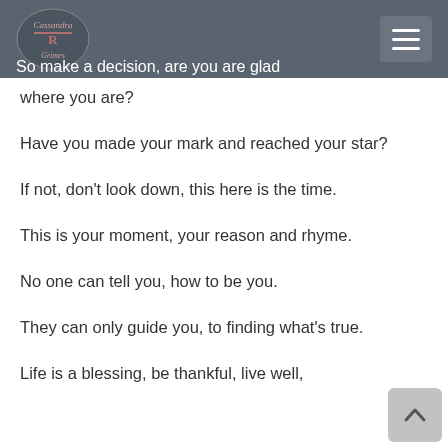Cassandra Grimes blog header with logo and menu button
So make a decision, are you are glad where you are?
Have you made your mark and reached your star?
If not, don't look down, this here is the time.
This is your moment, your reason and rhyme.
No one can tell you, how to be you.
They can only guide you, to finding what's true.
Life is a blessing, be thankful, live well,